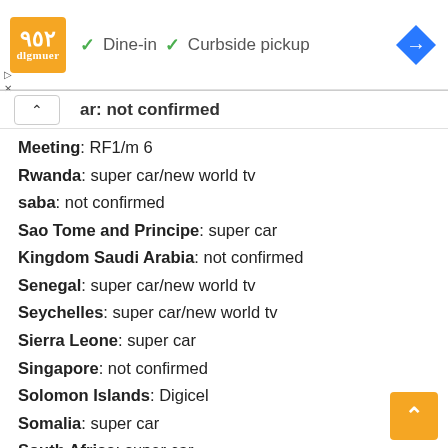[Figure (screenshot): Header bar with restaurant logo (orange square with text), checkmark icons for Dine-in and Curbside pickup, and a blue diamond navigation icon on the right.]
ar: not confirmed
Meeting: RF1/m 6
Rwanda: super car/new world tv
saba: not confirmed
Sao Tome and Principe: super car
Kingdom Saudi Arabia: not confirmed
Senegal: super car/new world tv
Seychelles: super car/new world tv
Sierra Leone: super car
Singapore: not confirmed
Solomon Islands: Digicel
Somalia: super car
South Africa: super car